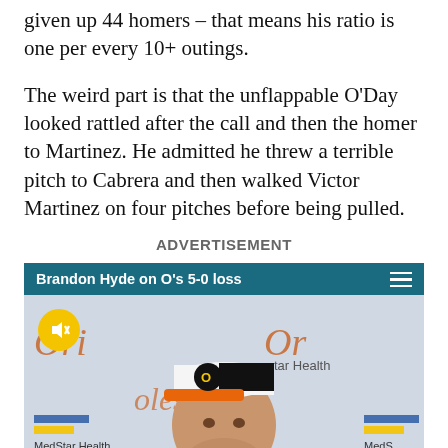given up 44 homers – that means his ratio is one per every 10+ outings.
The weird part is that the unflappable O'Day looked rattled after the call and then the homer to Martinez. He admitted he threw a terrible pitch to Cabrera and then walked Victor Martinez on four pitches before being pulled.
ADVERTISEMENT
[Figure (screenshot): Video player thumbnail showing Brandon Hyde at a press conference wearing an Orioles cap, with MedStar Health branding in background. Video bar reads 'Brandon Hyde on O's 5-0 loss'. A mute button icon is visible in the lower-left of the video.]